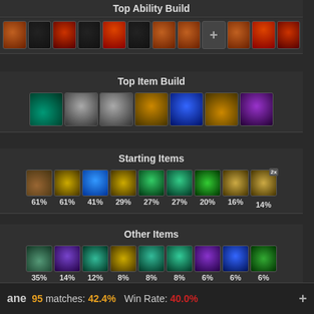Top Ability Build
[Figure (screenshot): Row of ability icons for top ability build]
Top Item Build
[Figure (screenshot): Row of item icons for top item build: 7 items]
Starting Items
[Figure (screenshot): Starting items with percentages: 61%, 61%, 41%, 29%, 27%, 27%, 20%, 16%, 14%]
Other Items
[Figure (screenshot): Other items with percentages: 35%, 14%, 12%, 8%, 8%, 8%, 6%, 6%, 6%]
ane  95 matches: 42.4%   Win Rate: 40.0%   +